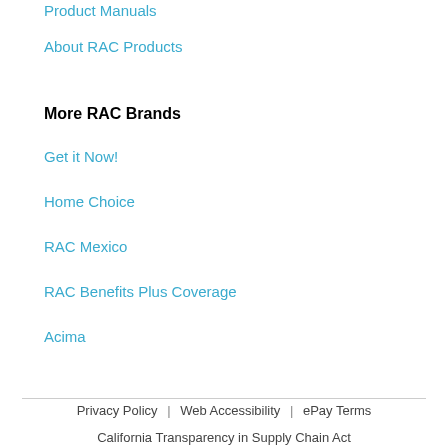Product Manuals
About RAC Products
More RAC Brands
Get it Now!
Home Choice
RAC Mexico
RAC Benefits Plus Coverage
Acima
Privacy Policy | Web Accessibility | ePay Terms
California Transparency in Supply Chain Act
California residents, please click hereCalifornia residents, click for information about the collection of your personal information for information about the collection of your personal information. Consulte al gerente de la tienda para obtener los detalles completos. **The advertised transaction is a rental-purchase agreement (rent-to-own agreement, consumer rental-purchase agreement or a lease/lease-purchase agreement, depending on your state). "Pay As You Go" and